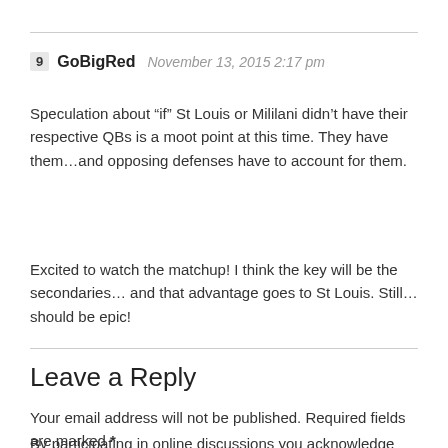9  GoBigRed  November 13, 2015 2:17 pm
Speculation about “if” St Louis or Mililani didn’t have their respective QBs is a moot point at this time. They have them…and opposing defenses have to account for them.
Excited to watch the matchup! I think the key will be the secondaries… and that advantage goes to St Louis. Still…should be epic!
Leave a Reply
Your email address will not be published. Required fields are marked *
By participating in online discussions you acknowledge